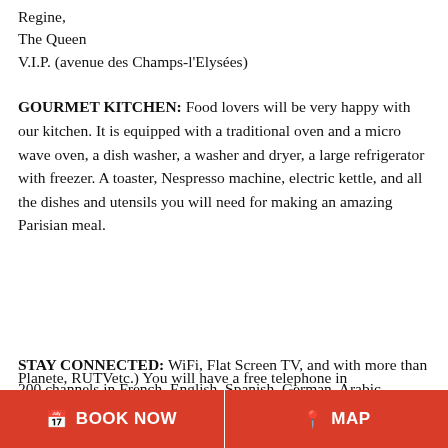Regine,
The Queen
V.I.P. (avenue des Champs-l'Elysées)
GOURMET KITCHEN: Food lovers will be very happy with our kitchen. It is equipped with a traditional oven and a micro wave oven, a dish washer, a washer and dryer, a large refrigerator with freezer. A toaster, Nespresso machine, electric kettle, and all the dishes and utensils you will need for making an amazing Parisian meal.
STAY CONNECTED: WiFi, Flat Screen TV, and with more than 200 channels in French, English, Spanish, German, Arabic, Russian (RAI, CNBC, SkyNews, TVE, GloboTV, Planete, RUTVetc.) You will have a free telephone in France when calling to land lines. We can also provide
BOOK NOW   MAP